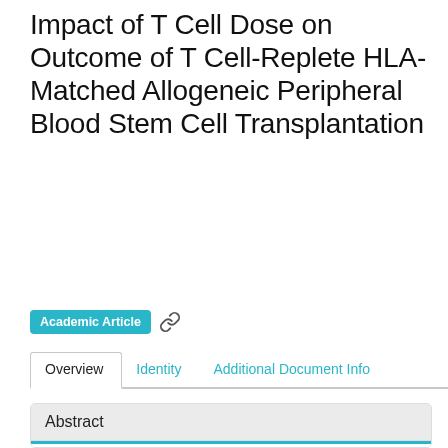Impact of T Cell Dose on Outcome of T Cell-Replete HLA-Matched Allogeneic Peripheral Blood Stem Cell Transplantation
Academic Article
Overview   Identity   Additional Document Info
Abstract
Data on whether the T cell dose of allogeneic peripheral blood stem cell (PBSC) products influences transplantation outcomes are conflicting. Using the Center for International Blood and Marrow Transplant Research database, we identified 2736 adult patients who underwent first allogeneic PBSC transplantation